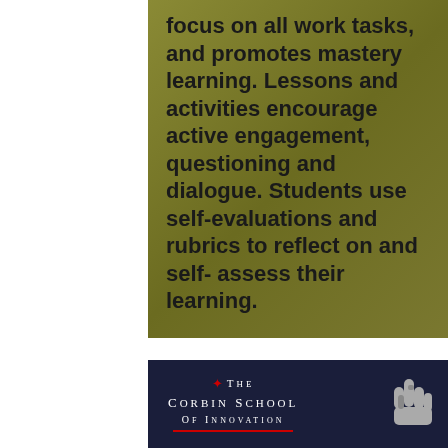focus on all work tasks, and promotes mastery learning. Lessons and activities encourage active engagement, questioning and dialogue. Students use self-evaluations and rubrics to reflect on and self-assess their learning.
[Figure (logo): The Corbin School of Innovation logo on dark navy background with red star and pointing hand icon]